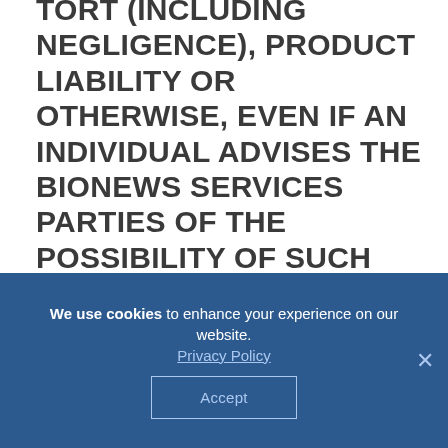TORT (INCLUDING NEGLIGENCE), PRODUCT LIABILITY OR OTHERWISE, EVEN IF AN INDIVIDUAL ADVISES THE BIONEWS SERVICES PARTIES OF THE POSSIBILITY OF SUCH DAMAGES. THE LIMITATIONS OF LIABILITY SET FORTH HEREIN ARE FUNDAMENTAL ELEMENTS OF THE BASIS OF THE BARGAIN BETWEEN BIONEWS SERVICES AND YOU. THE PRODUCTS, INFORMATION AND SERVICES OFFERED ON AND THROUG...
We use cookies to enhance your experience on our website. Privacy Policy
Accept